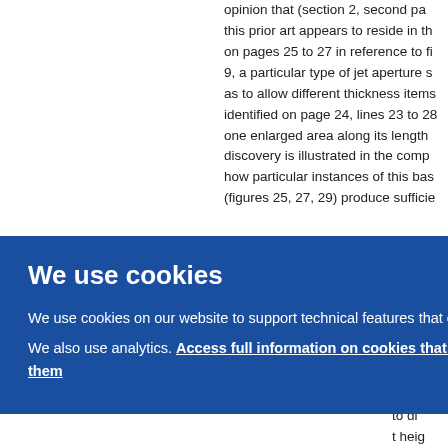opinion that (section 2, second paragraph) this prior art appears to reside in the on pages 25 to 27 in reference to fi 9, a particular type of jet aperture s as to allow different thickness items identified on page 24, lines 23 to 28 one enlarged area along its length discovery is illustrated in the comp how particular instances of this bas (figures 25, 27, 29) produce sufficie
m the ular c djust bined to be ral a re ne to di t hei
We use cookies
We use cookies on our website to support technical features that enhance your user experience.
We also use analytics. Access full information on cookies that we use and how to manage them